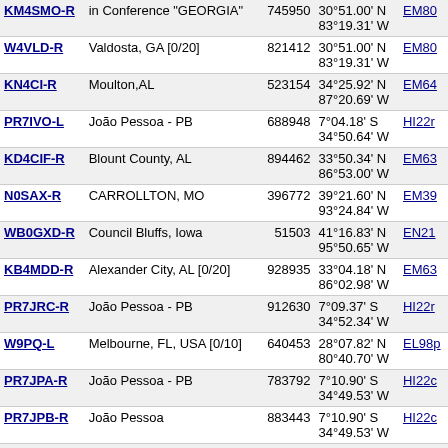| Callsign | Location | ID | Coordinates | Grid |
| --- | --- | --- | --- | --- |
| KM4SMO-R | in Conference "GEORGIA" | 745950 | 30°51.00' N 83°19.31' W | EM80 |
| W4VLD-R | Valdosta, GA [0/20] | 821412 | 30°51.00' N 83°19.31' W | EM80 |
| KN4CI-R | Moulton,AL | 523154 | 34°25.92' N 87°20.69' W | EM64 |
| PR7IVO-L | João Pessoa - PB | 688948 | 7°04.18' S 34°50.64' W | HI22r |
| KD4CIF-R | Blount County, AL | 894462 | 33°50.34' N 86°53.00' W | EM63 |
| N0SAX-R | CARROLLTON, MO | 396772 | 39°21.60' N 93°24.84' W | EM39 |
| WB0GXD-R | Council Bluffs, Iowa | 51503 | 41°16.83' N 95°50.65' W | EN21 |
| KB4MDD-R | Alexander City, AL [0/20] | 928935 | 33°04.18' N 86°02.98' W | EM63 |
| PR7JRC-R | João Pessoa - PB | 912630 | 7°09.37' S 34°52.34' W | HI22r |
| W9PQ-L | Melbourne, FL, USA [0/10] | 640453 | 28°07.82' N 80°40.70' W | EL98p |
| PR7JPA-R | João Pessoa - PB | 783792 | 7°10.90' S 34°49.53' W | HI22c |
| PR7JPB-R | João Pessoa | 883443 | 7°10.90' S 34°49.53' W | HI22c |
| WR4SG-R | your-Valdosta, GA [0/20] | 666863 | 30°13.20' N 83°00.00' W | EM80 |
| WB2UZR-L | Melbourne, FL [0/20] | 633394 | 28°02.70' N | EL98 |